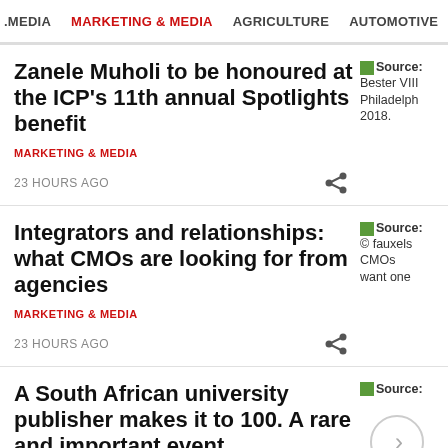. MEDIA  MARKETING & MEDIA  AGRICULTURE  AUTOMOTIVE  CONSTRU
Zanele Muholi to be honoured at the ICP's 11th annual Spotlights benefit
MARKETING & MEDIA
23 HOURS AGO
[Figure (photo): Source: Bester VIII Philadelphia 2018.]
Integrators and relationships: what CMOs are looking for from agencies
MARKETING & MEDIA
23 HOURS AGO
[Figure (photo): Source: © fauxels CMOs want one]
A South African university publisher makes it to 100. A rare and important event
[Figure (other): Source: (next/arrow circle button)]